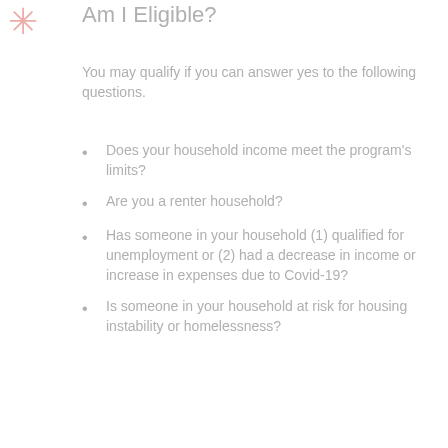[Figure (illustration): Pink/salmon colored snowflake or asterisk icon in the top-left corner]
Am I Eligible?
You may qualify if you can answer yes to the following questions.
Does your household income meet the program's limits?
Are you a renter household?
Has someone in your household (1) qualified for unemployment or (2) had a decrease in income or increase in expenses due to Covid-19?
Is someone in your household at risk for housing instability or homelessness?